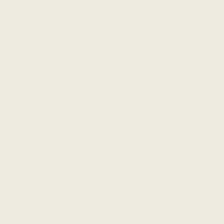[Figure (screenshot): E-commerce product listing page, partially cropped. Left cream/beige panel takes up roughly 60% of the page width. Right side shows product listing cards with red borders, product images on gray backgrounds, 'Buy Now' buttons with red text, and an orange circular badge reading 'FREE shipping'.]
Buy No
[Figure (photo): Product photo showing a dark metal hook or bracket, J-shaped, against a gray background. Shown in a product card with red border.]
Buy No
FREE
shippi
[Figure (photo): Product photo showing a dark metal bracket or clip on a gray background. Partially visible at the bottom of the page.]